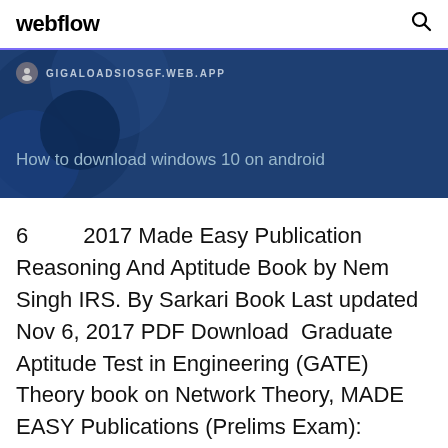webflow
[Figure (screenshot): Dark blue banner with URL bar showing GIGALOADSIOSGF.WEB.APP and text 'How to download windows 10 on android']
6        2017 Made Easy Publication Reasoning And Aptitude Book by Nem Singh IRS. By Sarkari Book Last updated Nov 6, 2017 PDF Download  Graduate Aptitude Test in Engineering (GATE) Theory book on Network Theory, MADE EASY Publications (Prelims Exam): Detailed Solution · UPSC ESE/IES 2020